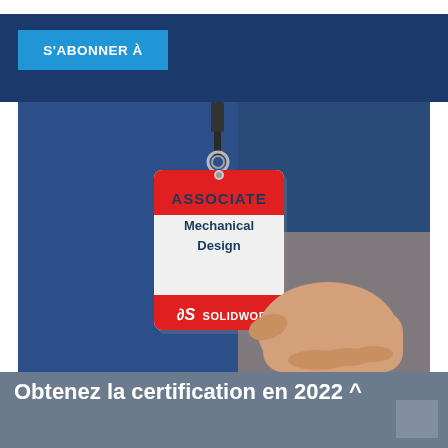S'ABONNER À
[Figure (photo): A hand holding a red and white SOLIDWORKS certification badge lanyard that reads 'ASSOCIATE Mechanical Design' with the 3DS SOLIDWORKS logo at the bottom, against a dark blue background.]
Obtenez la certification en 2022 ^